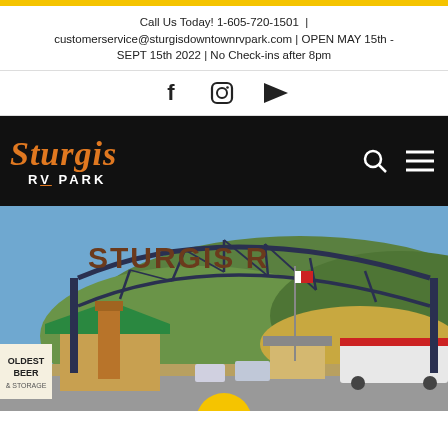Call Us Today! 1-605-720-1501 | customerservice@sturgisdowntownrvpark.com | OPEN MAY 15th - SEPT 15th 2022 | No Check-ins after 8pm
[Figure (other): Social media icons row: Facebook, Instagram, YouTube]
[Figure (logo): Sturgis RV Park logo in orange italic script on black background, with search and hamburger menu icons]
[Figure (photo): Photo of Sturgis RV Park entrance with a large metal arch sign reading 'STURGIS R...' over the entrance, green-roofed buildings, a forested hill in the background, RVs and vehicles visible, sign reading 'OLDEST BEER' on left, blue sky]